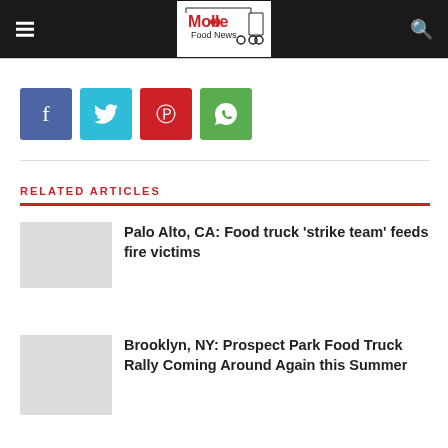Mobile Food News
[Figure (logo): Mobile Food News logo with food truck graphic]
RELATED ARTICLES
Palo Alto, CA: Food truck ‘strike team’ feeds fire victims
Brooklyn, NY: Prospect Park Food Truck Rally Coming Around Again this Summer